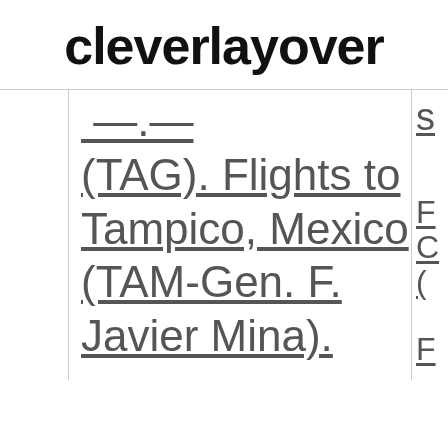cleverlayover
(TAG) Flights to Tampico, Mexico (TAM-Gen. F. Javier Mina)